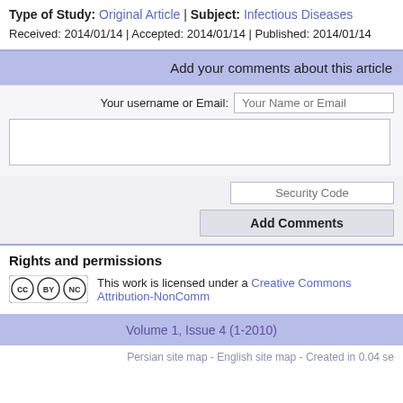Type of Study: Original Article | Subject: Infectious Diseases
Received: 2014/01/14 | Accepted: 2014/01/14 | Published: 2014/01/14
Add your comments about this article
Your username or Email:
Rights and permissions
This work is licensed under a Creative Commons Attribution-NonComm
Volume 1, Issue 4 (1-2010)
Persian site map - English site map - Created in 0.04 se